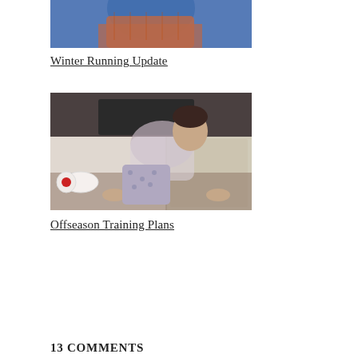[Figure (photo): Partial photo of a person in blue and orange athletic gear, cropped at top]
Winter Running Update
[Figure (photo): Woman using a foam roller on a hardwood floor in home setting, wearing floral leggings and grey sweatshirt]
Offseason Training Plans
13 COMMENTS